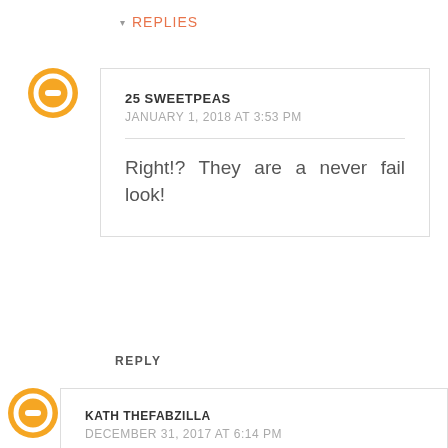REPLIES
25 SWEETPEAS
JANUARY 1, 2018 AT 3:53 PM
Right!? They are a never fail look!
REPLY
KATH THEFABZILLA
DECEMBER 31, 2017 AT 6:14 PM